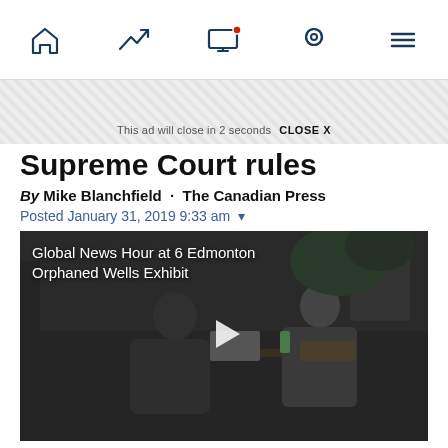Navigation bar with home, trending, notifications, location, and menu icons
This ad will close in 2 seconds  CLOSE X
Supreme Court rules
By Mike Blanchfield · The Canadian Press
Posted January 31, 2019 9:33 am
[Figure (screenshot): Video thumbnail showing two people at a desk in a dark room with text overlay: Global News Hour at 6 Edmonton Orphaned Wells Exhibit, with a play button in the center]